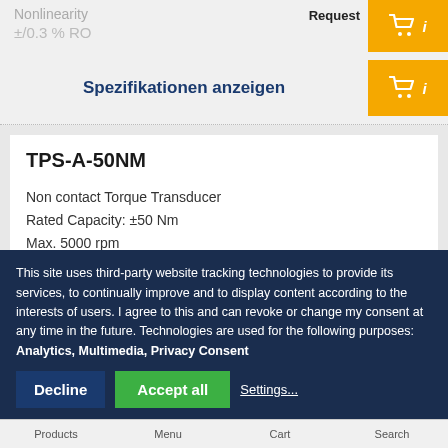Nonlinearity
±/0.3 % RO
Request
Spezifikationen anzeigen
TPS-A-50NM
Non contact Torque Transducer
Rated Capacity: ±50 Nm
Max. 5000 rpm
Built-in Amplifier. ±5 V output.
This site uses third-party website tracking technologies to provide its services, to continually improve and to display content according to the interests of users. I agree to this and can revoke or change my consent at any time in the future. Technologies are used for the following purposes: Analytics, Multimedia, Privacy Consent
Decline
Accept all
Settings...
Products   Menu   Cart   Search